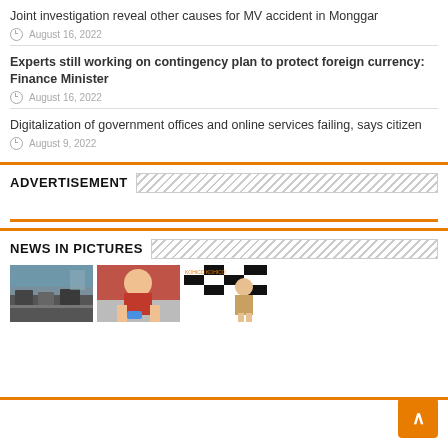Joint investigation reveal other causes for MV accident in Monggar
August 16, 2022
Experts still working on contingency plan to protect foreign currency: Finance Minister
August 16, 2022
Digitalization of government offices and online services failing, says citizen
August 9, 2022
ADVERTISEMENT
NEWS IN PICTURES
[Figure (photo): Street scene with parked cars and buildings]
[Figure (photo): Man in traditional Bhutanese dress holding objects]
[Figure (photo): Young person at a branded event backdrop]